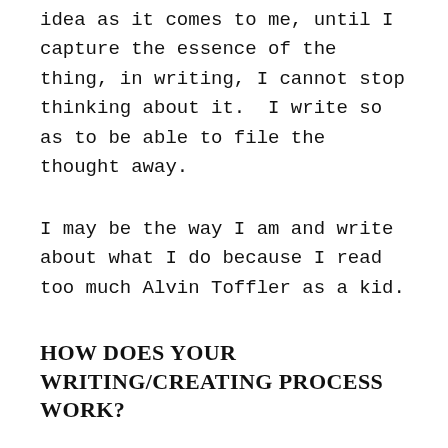idea as it comes to me, until I capture the essence of the thing, in writing, I cannot stop thinking about it.  I write so as to be able to file the thought away.
I may be the way I am and write about what I do because I read too much Alvin Toffler as a kid.
HOW DOES YOUR WRITING/CREATING PROCESS WORK?
Sheesh.  Differently at different times.